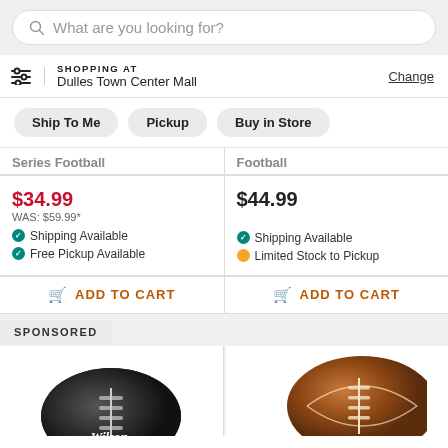[Figure (screenshot): Search bar with placeholder text 'What are you looking for?']
SHOPPING AT
Dulles Town Center Mall
Change
Ship To Me | Pickup | Buy in Store
Series Football (partial, clipped)
Football (partial, clipped)
$34.99
WAS: $59.99*
$44.99
Shipping Available
Free Pickup Available
Shipping Available
Limited Stock to Pickup
ADD TO CART
ADD TO CART
SPONSORED
[Figure (photo): Wilson football product image (black and white ball, Wilson logo visible)]
[Figure (photo): Brown leather football product image]